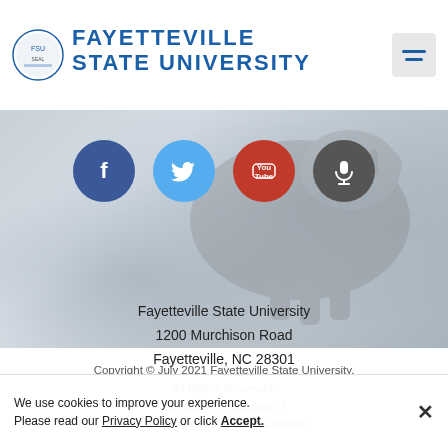[Figure (logo): Fayetteville State University logo with circular seal and blue text]
[Figure (infographic): Social media icons: Facebook (dark blue circle), Twitter (light blue circle), YouTube (red circle), Microphone/podcast (dark gray circle)]
[Figure (photo): Faded background photo of a horse statue/sculpture]
Fayetteville State University
1200 Murchison Road
Fayetteville, NC 28301
Copyright © July 2021 Fayetteville State University.
All Rights Reserved.
Constituent Institution of
The University of North Carolina
We use cookies to improve your experience.
Please read our Privacy Policy or click Accept.